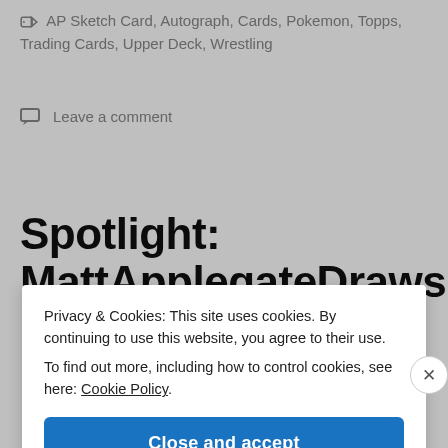🏷 AP Sketch Card, Autograph, Cards, Pokemon, Topps, Trading Cards, Upper Deck, Wrestling
💬 Leave a comment
Spotlight: MattApplegateDraws (Matt
Privacy & Cookies: This site uses cookies. By continuing to use this website, you agree to their use.
To find out more, including how to control cookies, see here: Cookie Policy
Close and accept